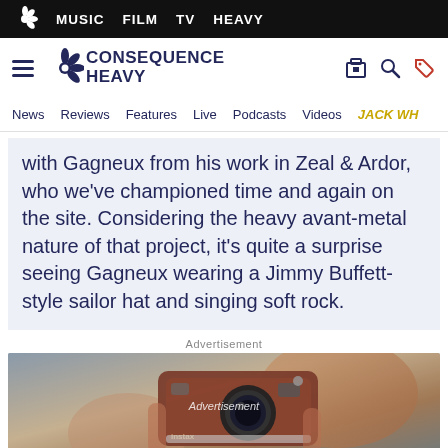MUSIC  FILM  TV  HEAVY
CONSEQUENCE HEAVY — News  Reviews  Features  Live  Podcasts  Videos  JACK WH...
with Gagneux from his work in Zeal & Ardor, who we've championed time and again on the site. Considering the heavy avant-metal nature of that project, it's quite a surprise seeing Gagneux wearing a Jimmy Buffett-style sailor hat and singing soft rock.
Advertisement
[Figure (photo): Advertisement image showing a person holding a Fujifilm Instax camera up to their face, photographed in a mirror selfie style. Text overlay reads 'Advertisement'.]